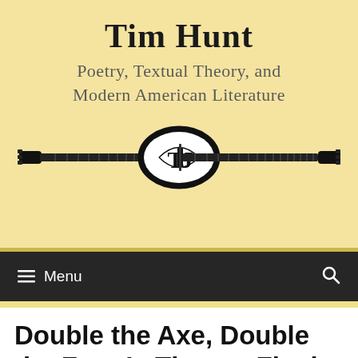Tim Hunt
Poetry, Textual Theory, and Modern American Literature
[Figure (logo): Decorative header graphic showing two electric guitar necks on either side, with a black oval logo in the center containing the letters TJ (stylized)]
Menu
Double the Axe, Double the Fun: Is There a Final Version of The Double Axe